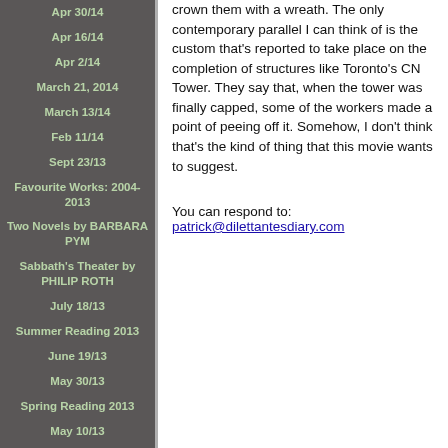Apr 30/14
Apr 16/14
Apr 2/14
March 21, 2014
March 13/14
Feb 11/14
Sept 23/13
Favourite Works: 2004-2013
Two Novels by BARBARA PYM
Sabbath's Theater by PHILIP ROTH
July 18/13
Summer Reading 2013
June 19/13
May 30/13
Spring Reading 2013
May 10/13
Apr 18/13
Mar 29/13
March 14, 2013
crown them with a wreath. The only contemporary parallel I can think of is the custom that's reported to take place on the completion of structures like Toronto's CN Tower. They say that, when the tower was finally capped, some of the workers made a point of peeing off it. Somehow, I don't think that's the kind of thing that this movie wants to suggest.
You can respond to: patrick@dilettantesdiary.com